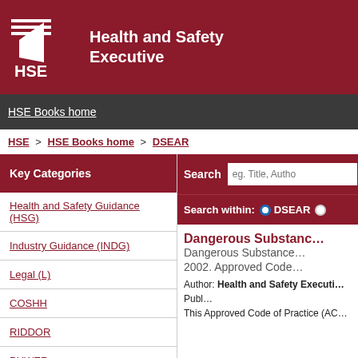Health and Safety Executive
HSE Books home
HSE > HSE Books home > DSEAR
Key Categories
Health and Safety Guidance (HSG)
Industry Guidance (INDG)
Legal (L)
COSHH
RIDDOR
PUWER
LOLER
Search
Search within: DSEAR
Dangerous Substances and Explosive Atmospheres Regulations 2002. Approved Code of Practice
Author: Health and Safety Executive
Back to Top